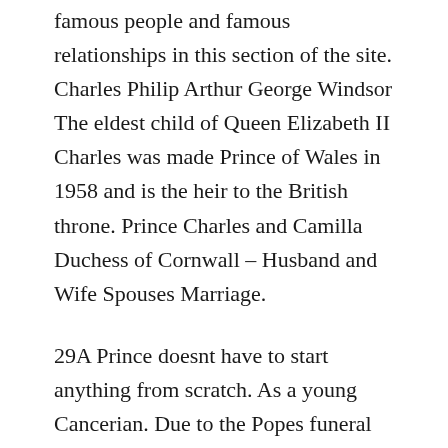famous people and famous relationships in this section of the site. Charles Philip Arthur George Windsor The eldest child of Queen Elizabeth II Charles was made Prince of Wales in 1958 and is the heir to the British throne. Prince Charles and Camilla Duchess of Cornwall – Husband and Wife Spouses Marriage.
29A Prince doesnt have to start anything from scratch. As a young Cancerian. Due to the Popes funeral Charles and Camillas planned wedding was postponed by one day.